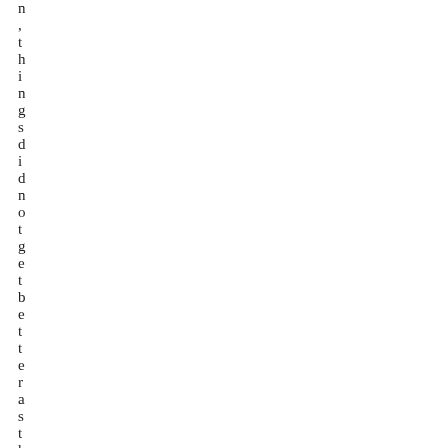n ,things did not get better as the d